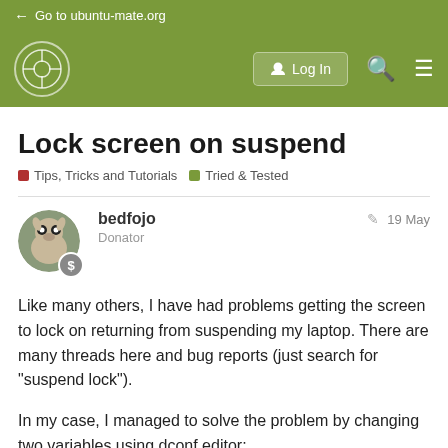← Go to ubuntu-mate.org
Lock screen on suspend
Tips, Tricks and Tutorials   Tried & Tested
bedfojo
Donator
19 May
Like many others, I have had problems getting the screen to lock on returning from suspending my laptop. There are many threads here and bug reports (just search for "suspend lock").
In my case, I managed to solve the problem by changing two variables using dconf editor:
org.mate.power-manager.lock-use-screensaver - false
org.mate.screensaver.lock-delay - 0
And reboot.
I'm not sure which of these did the trick but I offer the